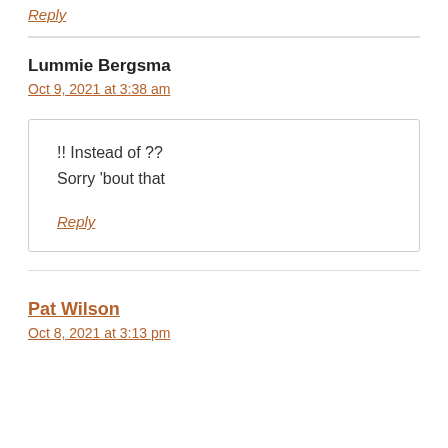Reply
Lummie Bergsma
Oct 9, 2021 at 3:38 am
!! Instead of ??
Sorry 'bout that
Reply
Pat Wilson
Oct 8, 2021 at 3:13 pm